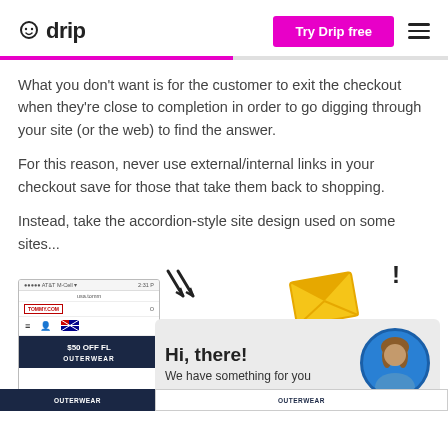drip — Try Drip free
What you don't want is for the customer to exit the checkout when they're close to completion in order to go digging through your site (or the web) to find the answer.
For this reason, never use external/internal links in your checkout save for those that take them back to shopping.
Instead, take the accordion-style site design used on some sites...
[Figure (screenshot): Mobile screenshot of Tommy.com showing $50 OFF FL OUTERWEAR banner, overlaid with a chat popup saying 'Hi, there! We have something for you' with avatar, and envelope/exclamation decoration]